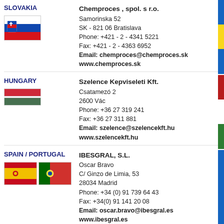SLOVAKIA
Chemproces , spol. s r.o.
Samorinska 52
SK - 821 06 Bratislava
Phone: +421 - 2 - 4341 5221
Fax: +421 - 2 - 4363 6952
Email: chemproces@chemproces.sk
www.chemproces.sk
HUNGARY
Szelence Kepviseleti Kft.
Csatamezó 2
2600 Vác
Phone: +36 27 319 241
Fax: +36 27 311 881
Email: szelence@szelencekft.hu
www.szelencekft.hu
SPAIN / PORTUGAL
IBESGRAL, S.L.
Oscar Bravo
C/ Ginzo de Limia, 53
28034 Madrid
Phone: +34 (0) 91 739 64 43
Fax: +34(0) 91 141 20 08
Email: oscar.bravo@ibesgral.es
www.ibesgral.es